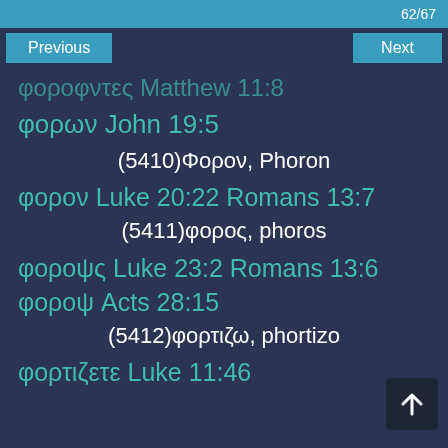62/67
Previous   Next
φορoφντες Matthew 11:8
φορων John 19:5
(5410)Φορον, Phoron
φορον Luke 20:22 Romans 13:7
(5411)φορος, phoros
φοροψς Luke 23:2 Romans 13:6
φοροψ Acts 28:15
(5412)φορτιζω, phortizo
φορτιζετε Luke 11:46